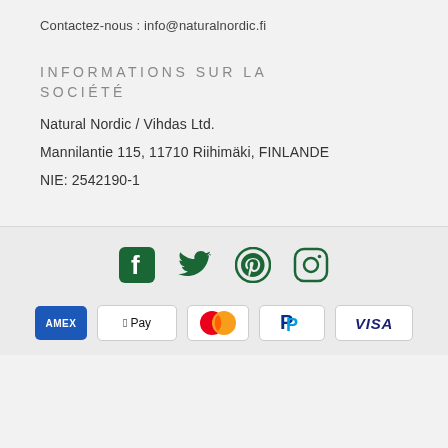Contactez-nous : info@naturalnordic.fi
INFORMATIONS SUR LA SOCIÉTÉ
Natural Nordic / Vihdas Ltd.
Mannilantie 115, 11710 Riihimäki, FINLANDE
NIE: 2542190-1
[Figure (infographic): Social media icons: Facebook, Twitter, Pinterest, Instagram — all in dark green color]
[Figure (infographic): Payment method icons: American Express (blue badge), Apple Pay, Mastercard, PayPal, Visa]